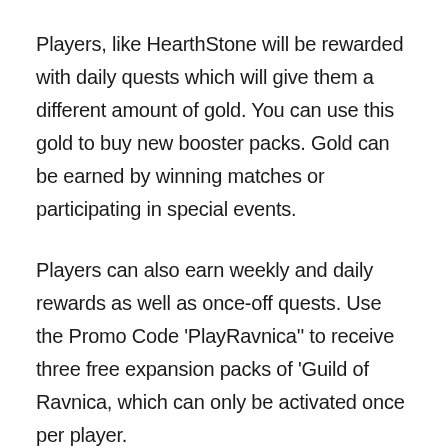Players, like HearthStone will be rewarded with daily quests which will give them a different amount of gold. You can use this gold to buy new booster packs. Gold can be earned by winning matches or participating in special events.
Players can also earn weekly and daily rewards as well as once-off quests. Use the Promo Code 'PlayRavnica'' to receive three free expansion packs of 'Guild of Ravnica, which can only be activated once per player.